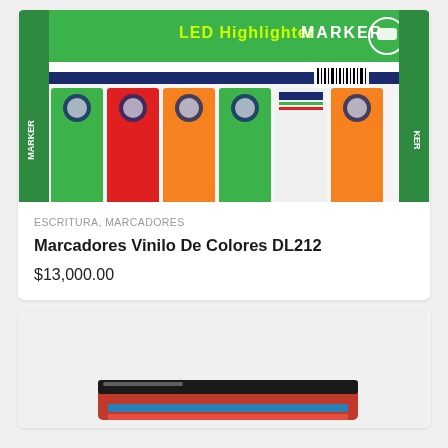[Figure (photo): Photo of LED Highlighter Marker product packaging showing multiple colored markers in a green display box with 'LED Highlighter MARKER' text]
ESCRITURA, MARCADORES
Marcadores Vinilo De Colores DL212
$13,000.00
[Figure (photo): Second product image, partially visible, showing a dark-colored product with red and black packaging at the bottom of the page]